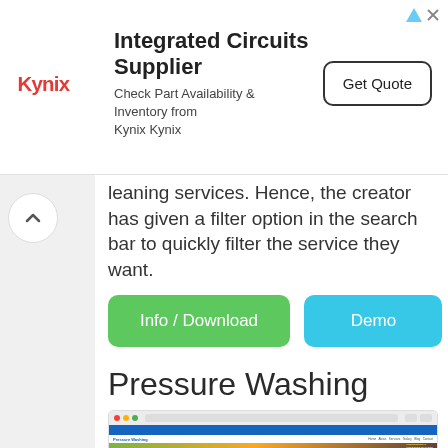[Figure (screenshot): Advertisement banner for Kynix - Integrated Circuits Supplier with logo, text, and Get Quote button]
leaning services. Hence, the creator has given a filter option in the search bar to quickly filter the service they want.
Info / Download
Demo
Pressure Washing (HTML)
[Figure (screenshot): Screenshot of Pressure Washing HTML website template showing browser window with a hero image and 'PROFESSIONAL PRESSURE WASHING SERVICES' text overlay]